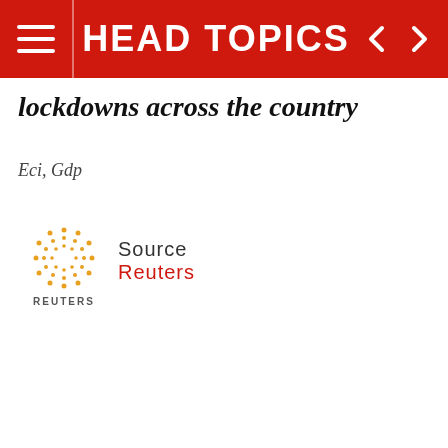HEAD TOPICS
lockdowns across the country
Eci, Gdp
[Figure (logo): Reuters logo — circular dot pattern with REUTERS text below]
Source
Reuters